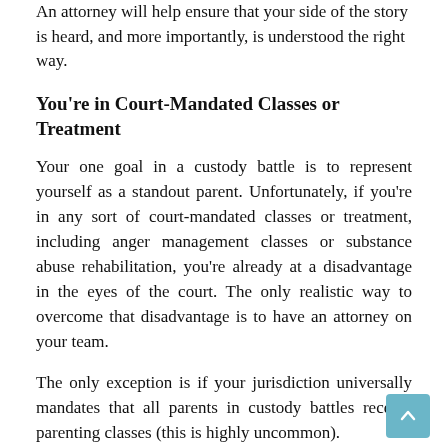An attorney will help ensure that your side of the story is heard, and more importantly, is understood the right way.
You're in Court-Mandated Classes or Treatment
Your one goal in a custody battle is to represent yourself as a standout parent. Unfortunately, if you're in any sort of court-mandated classes or treatment, including anger management classes or substance abuse rehabilitation, you're already at a disadvantage in the eyes of the court. The only realistic way to overcome that disadvantage is to have an attorney on your team.
The only exception is if your jurisdiction universally mandates that all parents in custody battles receive parenting classes (this is highly uncommon).
More Complicated Than...